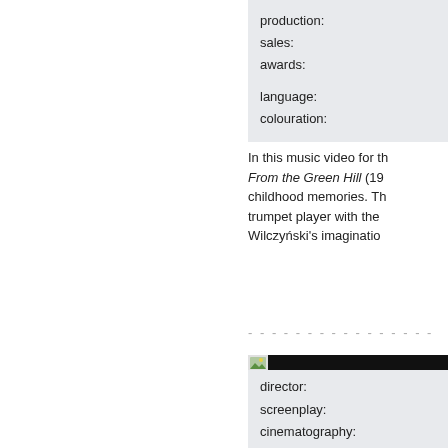production:
sales:
awards:

language:
colouration:
In this music video for th... From the Green Hill (19... childhood memories. Th... trumpet player with the ... Wilczyński's imaginatio...
- - - - - - - - - - - - - - - -
[Figure (screenshot): Film card with dark background showing title 'In the Stilln...', subtitle 'Wśród nocnej...', and metadata 'Poland 2000 / 3...']
director:
screenplay:
cinematography: